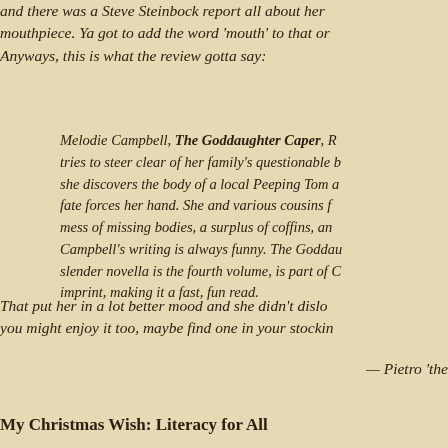and there was a Steve Steinbock report all about her mouthpiece. Ya got to add the word 'mouth' to that or Anyways, this is what the review gotta say:
Melodie Campbell, The Goddaughter Caper, tries to steer clear of her family's questionable b she discovers the body of a local Peeping Tom fate forces her hand. She and various cousins f mess of missing bodies, a surplus of coffins, an Campbell's writing is always funny. The Goddau slender novella is the fourth volume, is part of C imprint, making it a fast, fun read.
That put her in a lot better mood and she didn't dislo you might enjoy it too, maybe find one in your stockin
— Pietro 'the
My Christmas Wish: Literacy for All